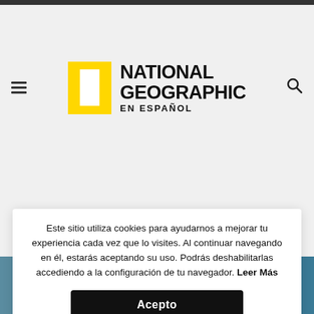[Figure (logo): National Geographic en Español logo with yellow border rectangle and bold text]
Este sitio utiliza cookies para ayudarnos a mejorar tu experiencia cada vez que lo visites. Al continuar navegando en él, estarás aceptando su uso. Podrás deshabilitarlas accediendo a la configuración de tu navegador. Leer Más
Acepto